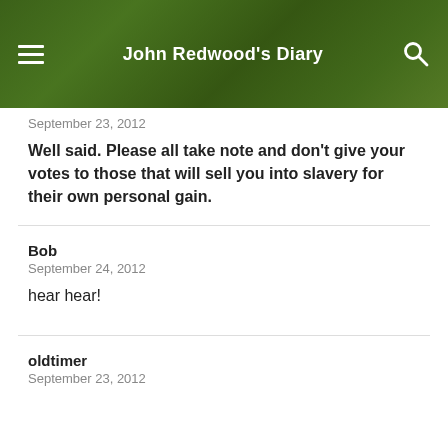John Redwood's Diary
September 23, 2012
Well said. Please all take note and don’t give your votes to those that will sell you into slavery for their own personal gain.
Bob
September 24, 2012
hear hear!
oldtimer
September 23, 2012